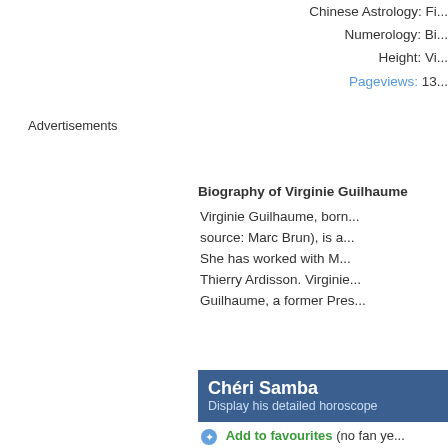Chinese Astrology: Fi...
Numerology: Bi...
Height: Vi...
Pageviews: 13...
Advertisements
Biography of Virginie Guilhaume
Virginie Guilhaume, born... source: Marc Brun), is a... She has worked with M... Thierry Ardisson. Virginie... Guilhaume, a former Pres...
Chéri Samba
Display his detailed horoscope
Add to favourites (no fan ye...
Born: Fri...
In: Ki... Co...
Sun: 8°...
Moon: 16...
Sa...
Dominants: Ne...
[Figure (photo): Small thumbnail portrait/painting of Chéri Samba]